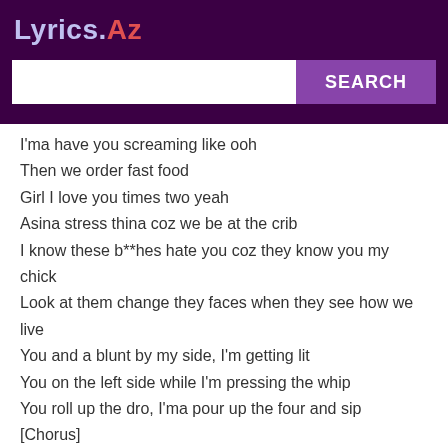Lyrics.Az
I'ma have you screaming like ooh
Then we order fast food
Girl I love you times two yeah
Asina stress thina coz we be at the crib
I know these b**hes hate you coz they know you my chick
Look at them change they faces when they see how we live
You and a blunt by my side, I'm getting lit
You on the left side while I'm pressing the whip
You roll up the dro, I'ma pour up the four and sip
[Chorus]
Don't have to go to the movies